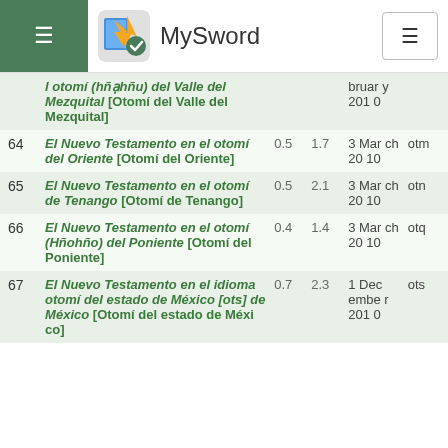MySword
| # | Title | Size | Size2 | Date | Code |
| --- | --- | --- | --- | --- | --- |
|  | l otomí (hñạhñu) del Valle del Mezquital [Otomí del Valle del Mezquital] |  |  | bruary 2010 |  |
| 64 | El Nuevo Testamento en el otomí del Oriente [Otomí del Oriente] | 0.5 | 1.7 | 3 March 2010 | otmch |
| 65 | El Nuevo Testamento en el otomí de Tenango [Otomí de Tenango] | 0.5 | 2.1 | 3 March 2010 | otnch |
| 66 | El Nuevo Testamento en el otomí (Hñohño) del Poniente [Otomí del Poniente] | 0.4 | 1.4 | 3 March 2010 | otqch |
| 67 | El Nuevo Testamento en el idioma otomí del estado de México [ots] de México [Otomí del estado de México] | 0.7 | 2.3 | 1 December 2010 | ots |